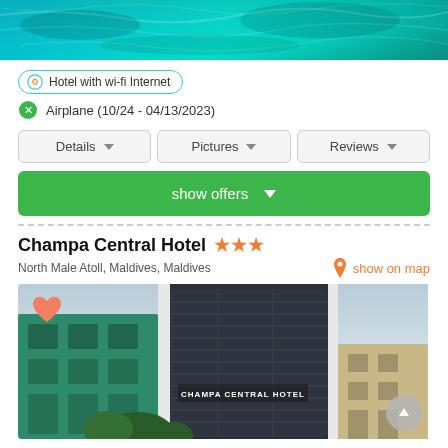[Figure (photo): Aerial view of turquoise ocean water]
Hotel with wi-fi Internet
Airplane (10/24 - 04/13/2023)
Details | Pictures | Reviews
show offers
Champa Central Hotel ★★★
North Male Atoll, Maldives, Maldives
show on map
[Figure (photo): Photo of Champa Central Hotel building, a tall modern curved glass tower with the hotel name on the facade]